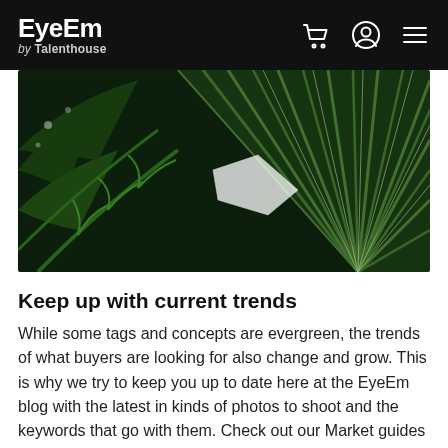EyeEm by Talenthouse
[Figure (photo): Close-up photograph of tropical palm leaves, showing detailed green fronds with radiating patterns, dark background with lush tropical foliage]
Keep up with current trends
While some tags and concepts are evergreen, the trends of what buyers are looking for also change and grow. This is why we try to keep you up to date here at the EyeEm blog with the latest in kinds of photos to shoot and the keywords that go with them. Check out our Market guides to read on what's current